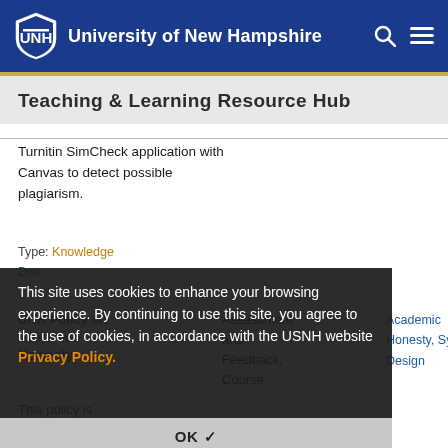University of New Hampshire
Teaching & Learning Resource Hub
Turnitin SimCheck application with Canvas to detect possible plagiarism.
Type: Knowledge
This site uses cookies to enhance your browsing experience. By continuing to use this site, you agree to the use of cookies, in accordance with the USNH website Privacy Policy.
UNH Policy on Academic Honesty
Assessment and Feedback, Course
Academic Honesty, Syllabu Design
This policy is included in the UNH Student Handbook
OK ✓